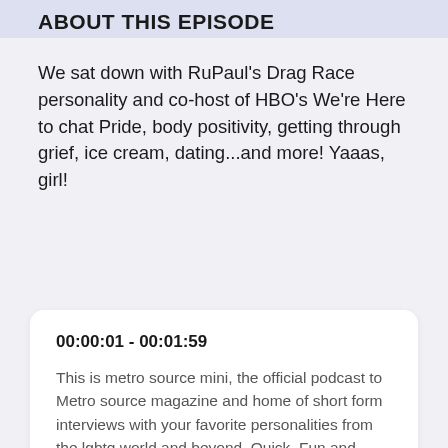ABOUT THIS EPISODE
We sat down with RuPaul's Drag Race personality and co-host of HBO's We're Here to chat Pride, body positivity, getting through grief, ice cream, dating...and more! Yaaas, girl!
00:00:01 - 00:01:59
This is metro source mini, the official podcast to Metro source magazine and home of short form interviews with your favorite personalities from the lgbtq world and beyond. Quick, Fun and informative. It's natur source on the go out in prown since one thousand nine hundred and ninety. Hello, hello, hello, this is metro sports. I'm your host,